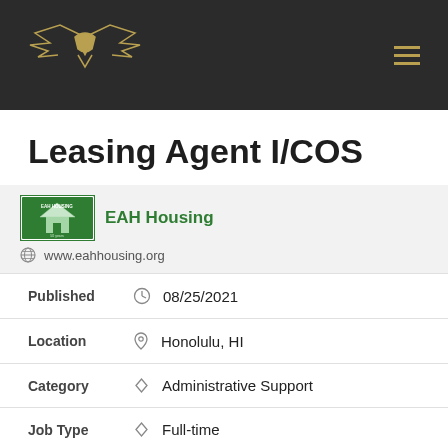[Figure (logo): Golden eagle/bird logo with wings spread on dark background, navigation site header with hamburger menu icon]
Leasing Agent I/COS
EAH Housing
www.eahhousing.org
Published  08/25/2021
Location  Honolulu, HI
Category  Administrative Support
Job Type  Full-time